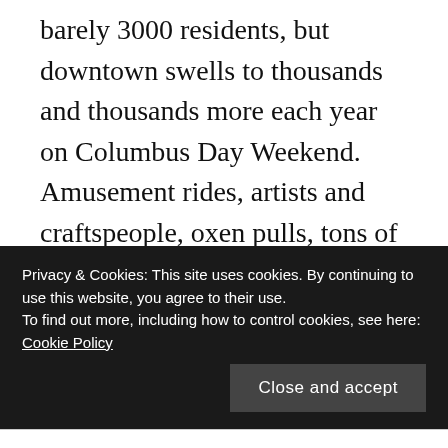barely 3000 residents, but downtown swells to thousands and thousands more each year on Columbus Day Weekend. Amusement rides, artists and craftspeople, oxen pulls, tons of delicious food, pancake breakfasts, and a road race are all part of the festivities, as well as a book signing I attended at the local indie bookstore Sunday afternoon, after I finished walking in the parade with my daughter. (We also helped our church celebrate its 200th birthday AND found time to go to a bonfire Sat. night…whew!) But the Friday afternoon event that kicked it all off this year was:
Privacy & Cookies: This site uses cookies. By continuing to use this website, you agree to their use. To find out more, including how to control cookies, see here: Cookie Policy
Close and accept